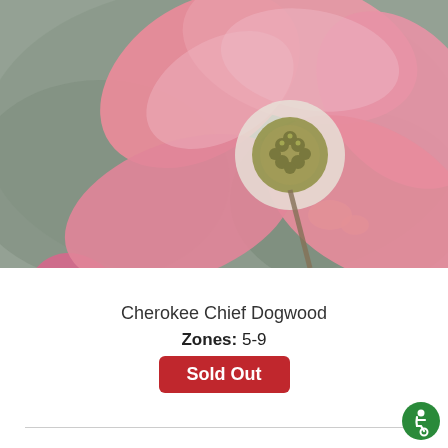[Figure (photo): Close-up photo of pink Cherokee Chief Dogwood flowers with soft petals and a greenish-yellow center cluster, on a blurred grey-green background.]
Cherokee Chief Dogwood
Zones: 5-9
Sold Out